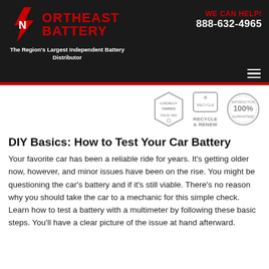[Figure (logo): Northeast Battery logo with red lightning bolt N icon and red text NORTHEAST BATTERY on dark background]
WE CAN HELP!
888-632-4965
The Region's Largest Independent Battery Distributor
[Figure (infographic): Three badges: Locally Owned, Recycle & Renew, Satisfaction 100% Guaranteed]
DIY Basics: How to Test Your Car Battery
Your favorite car has been a reliable ride for years. It's getting older now, however, and minor issues have been on the rise. You might be questioning the car's battery and if it's still viable. There's no reason why you should take the car to a mechanic for this simple check. Learn how to test a battery with a multimeter by following these basic steps. You'll have a clear picture of the issue at hand afterward.